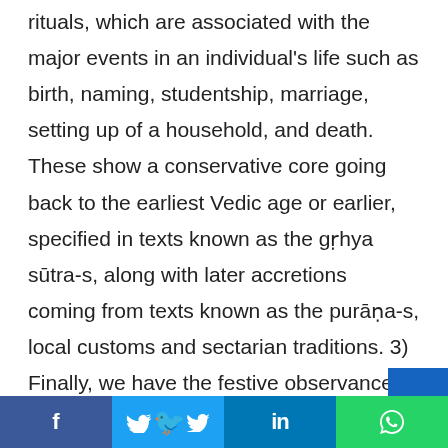rituals, which are associated with the major events in an individual's life such as birth, naming, studentship, marriage, setting up of a household, and death. These show a conservative core going back to the earliest Vedic age or earlier, specified in texts known as the gṛhya sūtra-s, along with later accretions coming from texts known as the purāṇa-s, local customs and sectarian traditions. 3) Finally, we have the festive observances, which are followed by the whole of Hindu society including the lay people. Examples of these include Indradhvaja, Dīpāvalī, Holākā (commonly called Holi in Northern parts of
[Figure (infographic): Social media share buttons bar: Facebook (blue), Twitter (light blue), LinkedIn (dark blue), WhatsApp (green)]